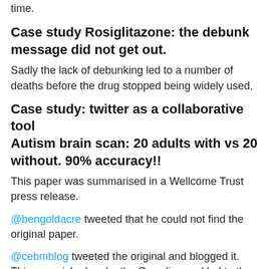time.
Case study Rosiglitazone: the debunk message did not get out.
Sadly the lack of debunking led to a number of deaths before the drug stopped being widely used.
Case study: twitter as a collaborative tool
Autism brain scan: 20 adults with vs 20 without. 90% accuracy!!
This paper was summarised in a Wellcome Trust press release.
@bengoldacre tweeted that he could not find the original paper.
@cebmblog tweeted the original and blogged it. This was picked up by the Guardian and led to the press release being altered.
Twitter enables you to participate in the hive mind.